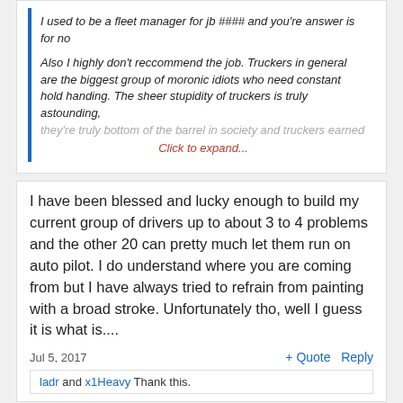I used to be a fleet manager for jb #### and you're answer is for no
Also I highly don't reccommend the job. Truckers in general are the biggest group of moronic idiots who need constant hold handing. The sheer stupidity of truckers is truly astounding, they're truly bottom of the barrel in society and truckers earned
Click to expand...
I have been blessed and lucky enough to build my current group of drivers up to about 3 to 4 problems and the other 20 can pretty much let them run on auto pilot. I do understand where you are coming from but I have always tried to refrain from painting with a broad stroke. Unfortunately tho, well I guess it is what is....
Jul 5, 2017
+ Quote  Reply
ladr and x1Heavy Thank this.
Discussed in this thread